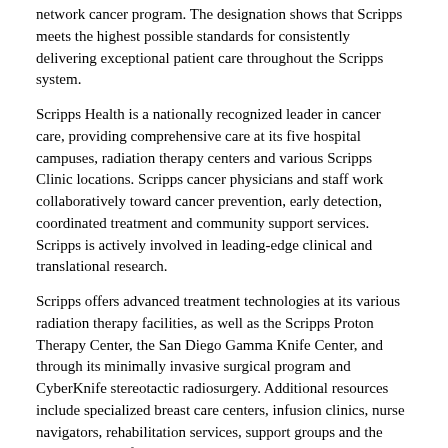network cancer program. The designation shows that Scripps meets the highest possible standards for consistently delivering exceptional patient care throughout the Scripps system.
Scripps Health is a nationally recognized leader in cancer care, providing comprehensive care at its five hospital campuses, radiation therapy centers and various Scripps Clinic locations. Scripps cancer physicians and staff work collaboratively toward cancer prevention, early detection, coordinated treatment and community support services. Scripps is actively involved in leading-edge clinical and translational research.
Scripps offers advanced treatment technologies at its various radiation therapy facilities, as well as the Scripps Proton Therapy Center, the San Diego Gamma Knife Center, and through its minimally invasive surgical program and CyberKnife stereotactic radiosurgery. Additional resources include specialized breast care centers, infusion clinics, nurse navigators, rehabilitation services, support groups and the Scripps Center for Integrative Medicine.
Scripps Health's Blood and Marrow Transplant Program is a leader in the treatment of blood cancers and disorders. It is San Diego County's longest-established blood and marrow transplant program and is the National Marrow Donor Program's only collection center in San Diego and Imperial counties. The program also